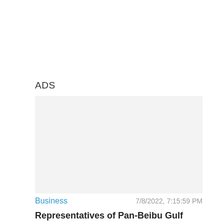ADS
[Figure (other): Gray advertisement placeholder box]
Business    7/8/2022, 7:15:59 PM
Representatives of Pan-Beibu Gulf